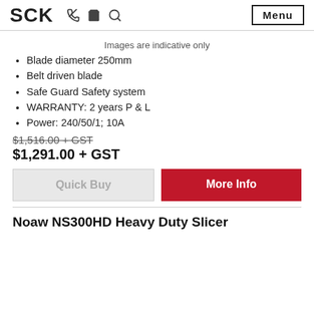SCK  Menu
Images are indicative only
Blade diameter 250mm
Belt driven blade
Safe Guard Safety system
WARRANTY: 2 years P & L
Power: 240/50/1; 10A
$1,516.00 + GST
$1,291.00 + GST
Quick Buy | More Info
Noaw NS300HD Heavy Duty Slicer